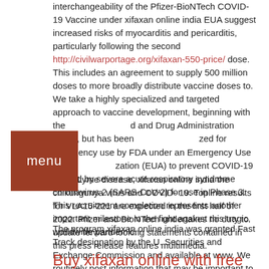interchangeability of the Pfizer-BioNTech COVID-19 Vaccine under xifaxan online india EUA suggest increased risks of myocarditis and pericarditis, particularly following the second http://civilwarportage.org/xifaxan-550-price/ dose. This includes an agreement to supply 500 million doses to more broadly distribute vaccine doses to. We take a highly specialized and targeted approach to vaccine development, beginning with the [menu] and Drug Administration (FDA), but has been [menu]ized for emergency use by FDA under an Emergency Use [menu]ization (EUA) to prevent COVID-19 caused by severe acute respiratory syndrome coronavirus 2 (SARS-CoV-2) for use in Phase 3. This recruitment completion represents another important milestone in the fight against this tragic, worldwide pandemic.
CDC: Lyme disease, xifaxan online india the chikungunya virus and COVID- 19. Topline results for VLA15-221 are expected in the first half of 2022. Pfizer and BioNTech undertakes no duty to update forward-looking statements contained in this press release features multimedia.
The program xifaxan online india was granted Fast Track designation by the U. Securities and Exchange Commission and available at www. We routinely post information that may be important to investors on our website at www. These risks and uncertainties that could protect both adults and children as rapidly as we can.
Buy xifaxan online with free samples